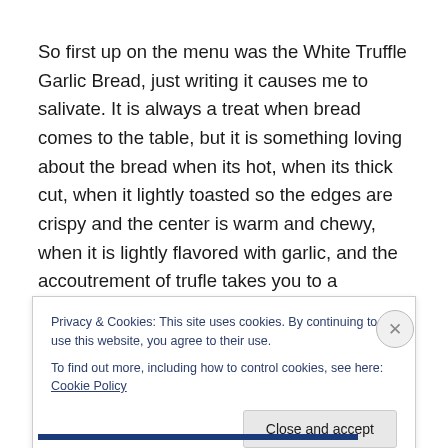So first up on the menu was the White Truffle Garlic Bread, just writing it causes me to salivate. It is always a treat when bread comes to the table, but it is something loving about the bread when its hot, when its thick cut, when it lightly toasted so the edges are crispy and the center is warm and chewy, when it is lightly flavored with garlic, and the accoutrement of trufle takes you to a
Privacy & Cookies: This site uses cookies. By continuing to use this website, you agree to their use.
To find out more, including how to control cookies, see here: Cookie Policy